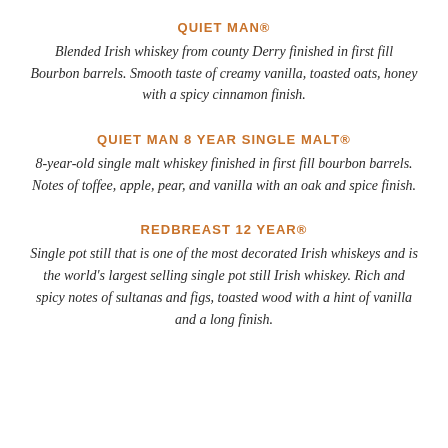QUIET MAN®
Blended Irish whiskey from county Derry finished in first fill Bourbon barrels. Smooth taste of creamy vanilla, toasted oats, honey with a spicy cinnamon finish.
QUIET MAN 8 YEAR SINGLE MALT®
8-year-old single malt whiskey finished in first fill bourbon barrels. Notes of toffee, apple, pear, and vanilla with an oak and spice finish.
REDBREAST 12 YEAR®
Single pot still that is one of the most decorated Irish whiskeys and is the world's largest selling single pot still Irish whiskey. Rich and spicy notes of sultanas and figs, toasted wood with a hint of vanilla and a long finish.